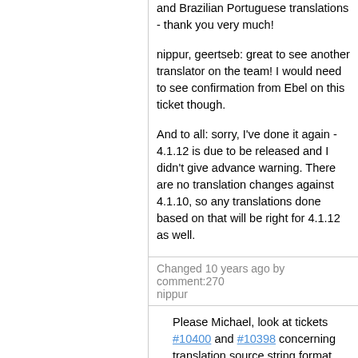and Brazilian Portuguese translations - thank you very much!
nippur, geertseb: great to see another translator on the team! I would need to see confirmation from Ebel on this ticket though.
And to all: sorry, I've done it again - 4.1.12 is due to be released and I didn't give advance warning. There are no translation changes against 4.1.10, so any translations done based on that will be right for 4.1.12 as well.
Changed 10 years ago by comment:270 nippur
Please Michael, look at tickets #10400 and #10398 concerning translation source string format errors (%n) in qt.ts and VirtualBox.ts before you release 4.1.12.
review translation Dutch shall be ready today, i ll post them asap
ty and regards